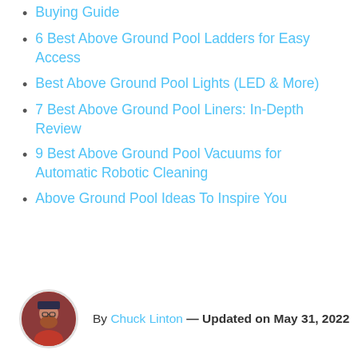Buying Guide
6 Best Above Ground Pool Ladders for Easy Access
Best Above Ground Pool Lights (LED & More)
7 Best Above Ground Pool Liners: In-Depth Review
9 Best Above Ground Pool Vacuums for Automatic Robotic Cleaning
Above Ground Pool Ideas To Inspire You
By Chuck Linton — Updated on May 31, 2022